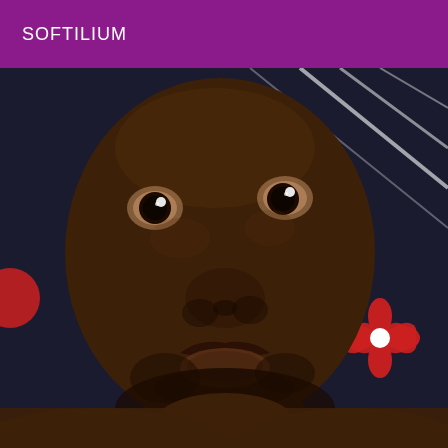SOFTILIUM
[Figure (photo): Close-up selfie photo of a young Black man with short beard stubble, looking directly at the camera. He is shirtless and lying against a dark fabric background with a red flower pattern and white diagonal stripes. The photo fills most of the page below the purple header bar.]